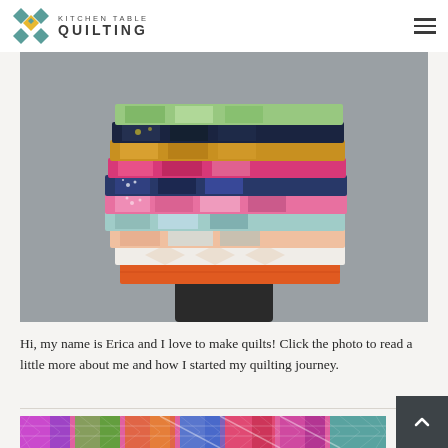KITCHEN TABLE QUILTING
[Figure (photo): Stack of colorful folded quilts held up by a person, photographed against a gray background. The quilts feature various patchwork patterns in pink, blue, yellow, green, white, and orange fabrics.]
Hi, my name is Erica and I love to make quilts! Click the photo to read a little more about me and how I started my quilting journey.
[Figure (photo): Partial view of a colorful plaid/madras patchwork quilt with quilted diamond stitching pattern, in pink, purple, blue, green, and orange colors.]